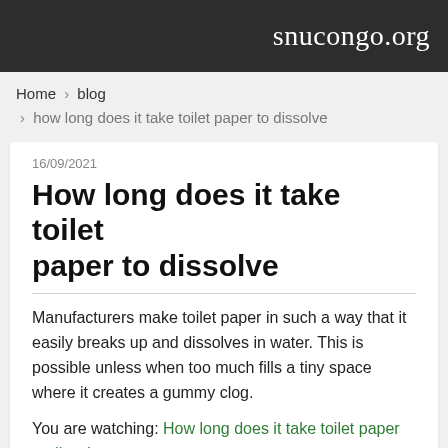snucongo.org
Home › blog › how long does it take toilet paper to dissolve
16/09/2021
How long does it take toilet paper to dissolve
Manufacturers make toilet paper in such a way that it easily breaks up and dissolves in water. This is possible unless when too much fills a tiny space where it creates a gummy clog.
You are watching: How long does it take toilet paper to dissolve